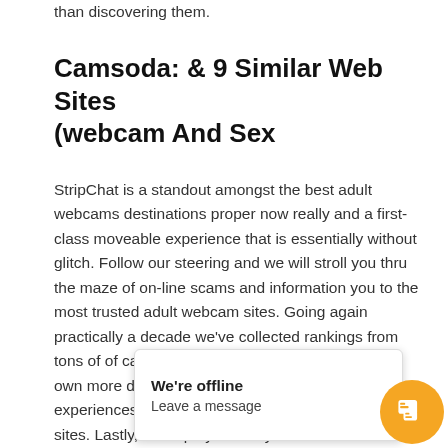than discovering them.
Camsoda: & 9 Similar Web Sites (webcam And Sex
StripChat is a standout amongst the best adult webcams destinations proper now really and a first-class moveable experience that is essentially without glitch. Follow our steering and we will stroll you thru the maze of on-line scams and information you to the most trusted adult webcam sites. Going again practically a decade we've collected rankings from tons of of cam site users. In addition, we share our own more detailed logs that spotlight specific experiences using each of the preferred webcam sex sites. Lastly, we hope you and yours have as a lot fun utilizing these adult cam sites as we do. Live sex cam sites provide a extra immersive a[...] our self off, as you ca[...] e your requests in re[...] res, [...]
We're offline
Leave a message